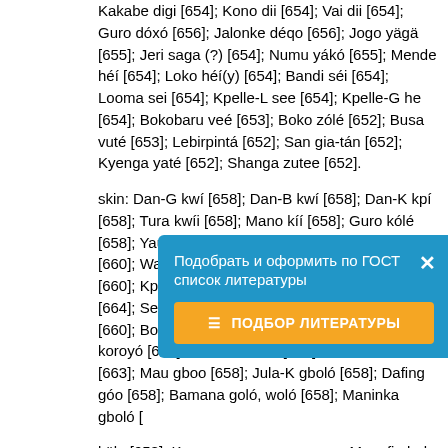Kakabe digi [654]; Kono dii [654]; Vai dii [654]; Guro dóxó [656]; Jalonke déqo [656]; Jogo yägä [655]; Jeri saga (?) [654]; Numu yákó [655]; Mende héí [654]; Loko héí(y) [654]; Bandi séi [654]; Looma sei [654]; Kpelle-L see [654]; Kpelle-G he [654]; Bokobaru veé [653]; Boko zólé [652]; Busa vuté [653]; Lebirpintá [652]; San gia-tán [652]; Kyenga yaté [652]; Shanga zutee [652].
skin: Dan-G kwí [658]; Dan-B kwí [658]; Dan-K kpí [658]; Tura kwíi [658]; Mano kíí [658]; Guro kólé [658]; Yaure kéle [658]; Gban loe [659]; Mwan flé [660]; Wan klé [658]; Beng cí [658]; Kpeen ferúy [660]; Kpan su [664]; Dzuun tün [664]; Duun tunó [664]; Seenku tun [664]; Banka tuna [664]; Jo pólí [660]; Bobo kon [658]; Bozo-J koro [658]; Bozo-K koroyó [658]; Bozo-T koron [658]; Soninke fätS [663]; Mau gboo [658]; Jula-K gboló [658]; Dafing góo [658]; Bamana goló, woló [658]; Maninka gboló [658]; Vai kpoó [658]; Jogo kporó [658]; Mende kdló [658]; Loko ko [658]; Bandi kdlo(y) [658]; Looma kóló [658]; Kpelle-L kóló [658]; Kpelle-G kóló